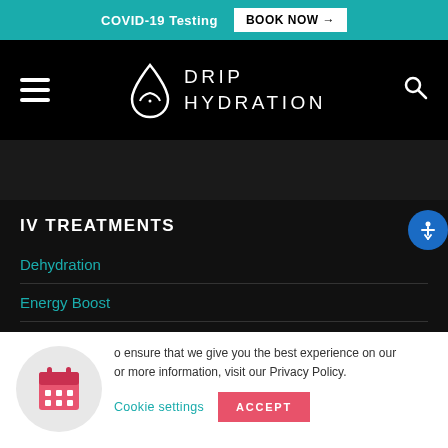COVID-19 Testing  BOOK NOW →
[Figure (logo): Drip Hydration logo with water drop icon and text DRIP HYDRATION in white on black background, with hamburger menu and search icon]
IV TREATMENTS
Dehydration
Energy Boost
Hangover
o ensure that we give you the best experience on our or more information, visit our Privacy Policy.
Cookie settings   ACCEPT